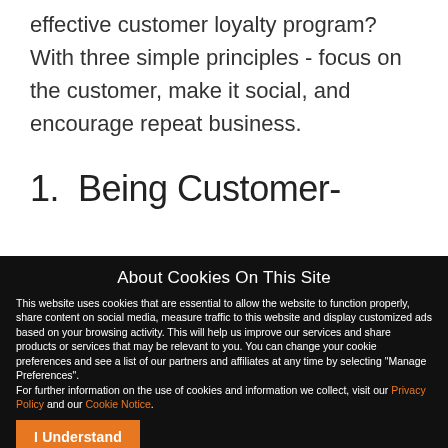effective customer loyalty program? With three simple principles - focus on the customer, make it social, and encourage repeat business.
1.  Being Customer-
About Cookies On This Site
This website uses cookies that are essential to allow the website to function properly, share content on social media, measure traffic to this website and display customized ads based on your browsing activity. This will help us improve our services and share products or services that may be relevant to you. You can change your cookie preferences and see a list of our partners and affiliates at any time by selecting "Manage Preferences". For further information on the use of cookies and information we collect, visit our Privacy Policy and our Cookie Notice.
I Understand
Manage Preferences